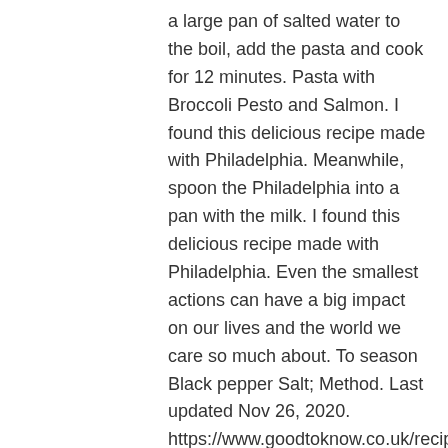a large pan of salted water to the boil, add the pasta and cook for 12 minutes. Pasta with Broccoli Pesto and Salmon. I found this delicious recipe made with Philadelphia. Meanwhile, spoon the Philadelphia into a pan with the milk. I found this delicious recipe made with Philadelphia. Even the smallest actions can have a big impact on our lives and the world we care so much about. To season Black pepper Salt; Method. Last updated Nov 26, 2020. https://www.goodtoknow.co.uk/recipes/broccoli-and-salmon-tagliatelle Stir in the smoked salmon and rocket. To add this recipe to your bookmarks, please use one of the following shortcuts. Drain well then return to the pan, cover and keep warm. Add the